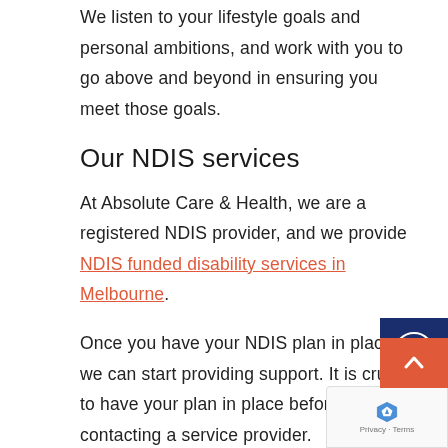We listen to your lifestyle goals and personal ambitions, and work with you to go above and beyond in ensuring you meet those goals.
Our NDIS services
At Absolute Care & Health, we are a registered NDIS provider, and we provide NDIS funded disability services in Melbourne.
Once you have your NDIS plan in place, we can start providing support. It is crucial to have your plan in place before contacting a service provider.
The services you receive will be designed to you achieve your lifestyle goals, as well as
[Figure (other): Accessibility widget button with person-in-circle icon on dark blue background]
[Figure (other): Scroll to top orange button with upward chevron arrow]
[Figure (other): reCAPTCHA privacy badge showing Privacy and Terms text]